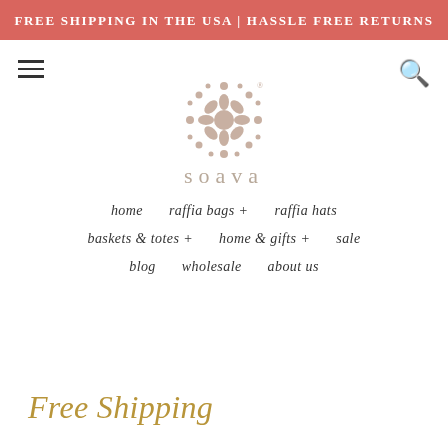FREE SHIPPING IN THE USA | HASSLE FREE RETURNS
[Figure (logo): Soava brand logo with decorative circular dot pattern above the word 'soava' in lowercase serif lettering]
home   raffia bags +   raffia hats
baskets & totes +   home & gifts +   sale
blog   wholesale   about us
Free Shipping